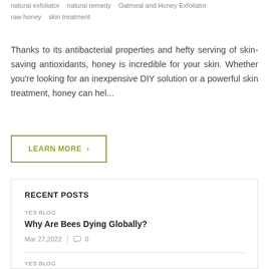natural exfoliator   natural remedy   Oatmeal and Honey Exfoliator   raw honey   skin treatment
Thanks to its antibacterial properties and hefty serving of skin-saving antioxidants, honey is incredible for your skin. Whether you're looking for an inexpensive DIY solution or a powerful skin treatment, honey can hel...
LEARN MORE  >
RECENT POSTS
YES BLOG
Why Are Bees Dying Globally?
Mar 27,2022   |   0
YES BLOG